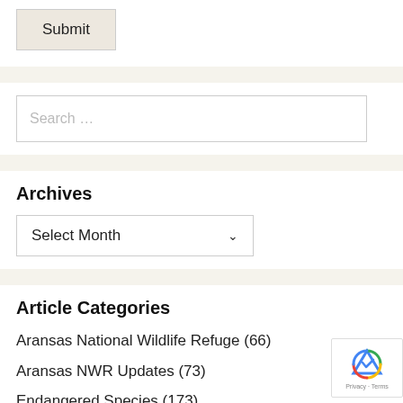Submit
Search …
Archives
Select Month
Article Categories
Aransas National Wildlife Refuge (66)
Aransas NWR Updates (73)
Endangered Species (173)